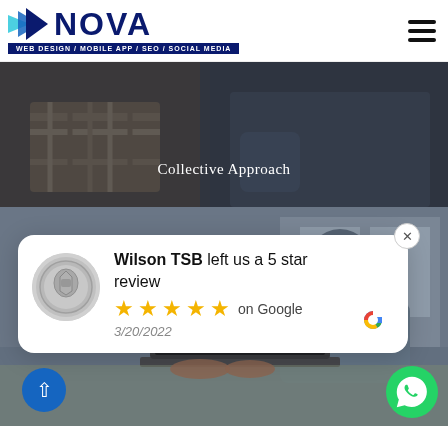[Figure (logo): Nova Web Design logo with arrow graphic and tagline: WEB DESIGN / MOBILE APP / SEO / SOCIAL MEDIA]
[Figure (photo): Two business professionals with crossed arms against dark background, with text 'Collective Approach' overlaid]
[Figure (photo): Person working on laptop, partially obscured by Google review popup card]
Wilson TSB left us a 5 star review ★★★★★ on Google 3/20/2022